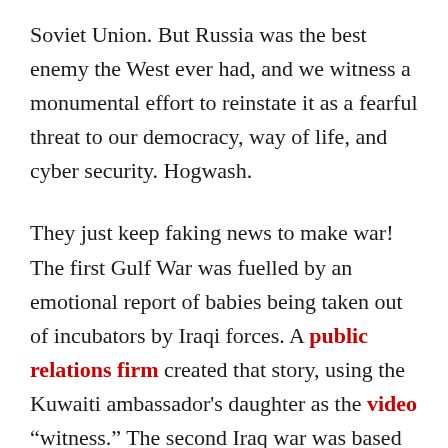Soviet Union. But Russia was the best enemy the West ever had, and we witness a monumental effort to reinstate it as a fearful threat to our democracy, way of life, and cyber security. Hogwash.
They just keep faking news to make war! The first Gulf War was fuelled by an emotional report of babies being taken out of incubators by Iraqi forces. A public relations firm created that story, using the Kuwaiti ambassador's daughter as the video "witness." The second Iraq war was based on fake WMD. Destruction of Libya based on a phoney attempt to protect the people of Libya from their evil ruler.  Ditto Syria, a successful secular nation with a strong army having no mission other than to